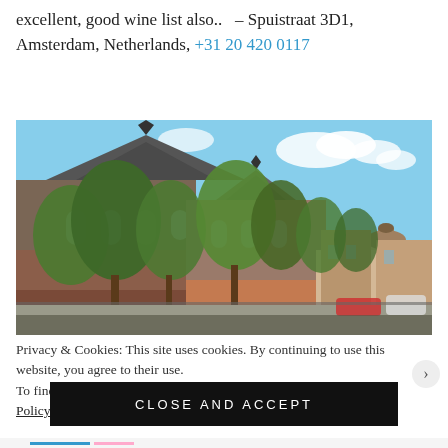excellent, good wine list also..  – Spuistraat 3D1, Amsterdam, Netherlands, +31 20 420 0117
[Figure (photo): Photograph of Amsterdam street scene with historic Gothic church (Oude Kerk), brick buildings, trees, and blue sky]
Privacy & Cookies: This site uses cookies. By continuing to use this website, you agree to their use. To find out more, including how to control cookies, see here: Cookie Policy
CLOSE AND ACCEPT